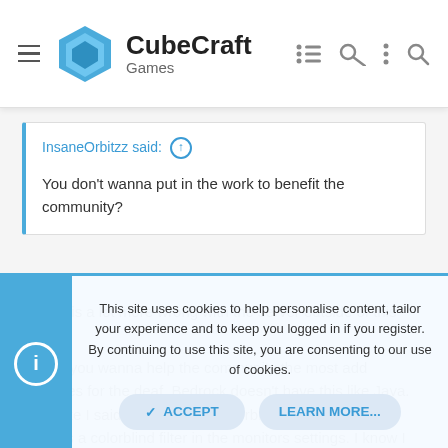CubeCraft Games
InsaneOrbitzz said: ↑

You don't wanna put in the work to benefit the community?
There is a lot more wrong with the server outside of this xP.
Tbh if you wanna help the community the most add subtitles for the deaf. Bedrock doesn't have this like Java. And like I said. There's prob colorblind texturepacks as well as a colorblind filter in the monitors settings. I know I can change the color of my screen on IOS as well as my TV.
This site uses cookies to help personalise content, tailor your experience and to keep you logged in if you register.
By continuing to use this site, you are consenting to our use of cookies.